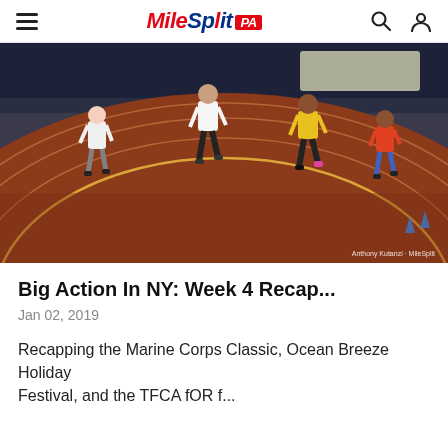MileSplit PA
[Figure (photo): Indoor track race with four runners sprinting on a red track inside an arena; photo credit: Anthony Kutanzi / MileSplit]
Big Action In NY: Week 4 Recap...
Jan 02, 2019
Recapping the Marine Corps Classic, Ocean Breeze Holiday Festival, and the TFCA fOR f...